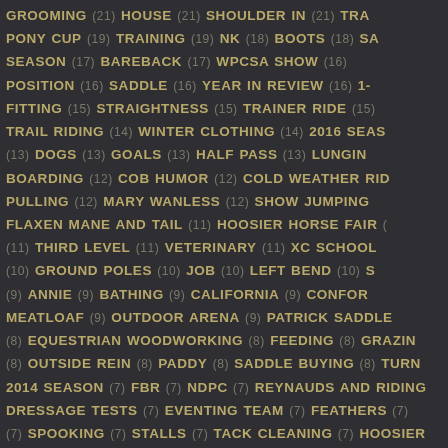GROOMING (21) HOUSE (21) SHOULDER IN (21) TRAINING PONY CUP (19) TRAINING (19) NK (18) BOOTS (18) SA SEASON (17) BAREBACK (17) WPCSA SHOW (16) POSITION (16) SADDLE (16) YEAR IN REVIEW (16) 1- FITTING (15) STRAIGHTNESS (15) TRAINER RIDE (15) TRAIL RIDING (14) WINTER CLOTHING (14) 2016 SEAS (13) DOGS (13) GOALS (13) HALF PASS (13) LUNGIN BOARDING (12) COB HUMOR (12) COLD WEATHER RID PULLING (12) MARY WANLESS (12) SHOW JUMPING FLAXEN MANE AND TAIL (11) HOOSIER HORSE FAIR ( (11) THIRD LEVEL (11) VETERINARY (11) XC SCHOOL (10) GROUND POLES (10) JOB (10) LEFT BEND (10) S (9) ANNIE (9) BATHING (9) CALIFORNIA (9) CONFOR MEATLOAF (9) OUTDOOR ARENA (9) PATRICK SADDLE (8) EQUESTRIAN WOODWORKING (8) FEEDING (8) GRAZIN (8) OUTSIDE REIN (8) PADDY (8) SADDLE BUYING (8) TURN 2014 SEASON (7) FBR (7) NDPC (7) REYNAUDS AND RIDING DRESSAGE TESTS (7) EVENTING TEAM (7) FEATHERS (7) (7) SPOOKING (7) STALLS (7) TACK CLEANING (7) HOOSIER COUNTER CANTER (6) DOWN BANK (6) EQ SADDLE SCIE SADDLE PAD (6) SECRET SANTA (6) SHOULDER CONTROL TRAILER MAINTENANCE (6) TROT (6) TURN ON THE HAUN